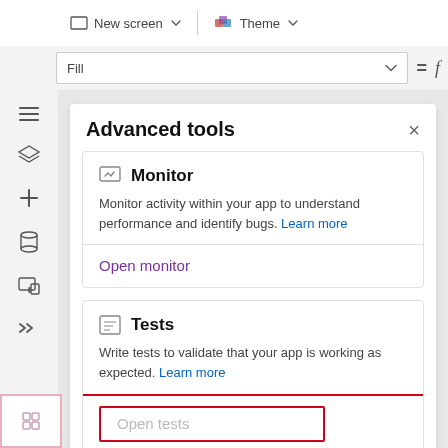[Figure (screenshot): Microsoft Power Apps toolbar with New screen and Theme buttons]
Fill
Advanced tools
Monitor
Monitor activity within your app to understand performance and identify bugs. Learn more
Open monitor
Tests
Write tests to validate that your app is working as expected. Learn more
Open tests